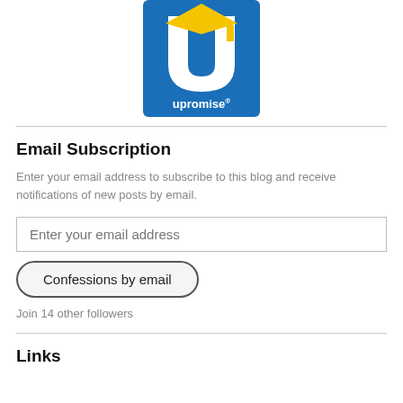[Figure (logo): Upromise logo: blue square with white U and yellow graduation cap, text 'upromise' in white below]
Email Subscription
Enter your email address to subscribe to this blog and receive notifications of new posts by email.
Enter your email address
Confessions by email
Join 14 other followers
Links